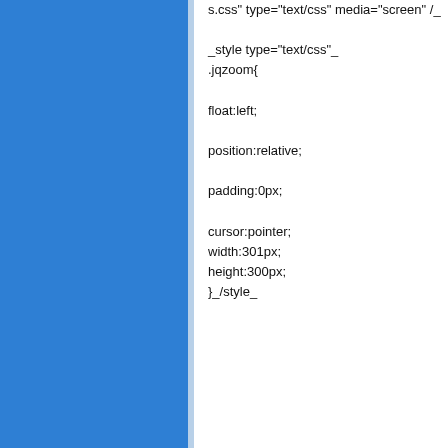[Figure (other): Blue panel on the left side of the page, decorative background element]
s.css" type="text/css" media="screen" /_

_style type="text/css"_
.jqzoom{

float:left;

position:relative;

padding:0px;

cursor:pointer;
width:301px;
height:300px;
}_/style_








_div id="productMainImage" class="centere

_div class="jqzoom" __a href="http://www.